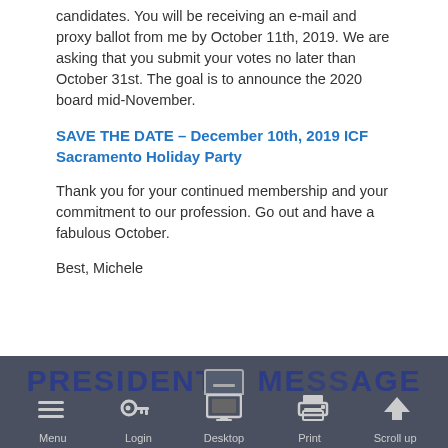candidates. You will be receiving an e-mail and proxy ballot from me by October 11th, 2019. We are asking that you submit your votes no later than October 31st. The goal is to announce the 2020 board mid-November.
SAVE THE DATE – December 10th, 2019 ICF Sacramento Holiday Party
Thank you for your continued membership and your commitment to our profession. Go out and have a fabulous October.
Best, Michele
PRESIDENT'S MESSAGE | Menu | Login | Desktop | Print | Scroll up